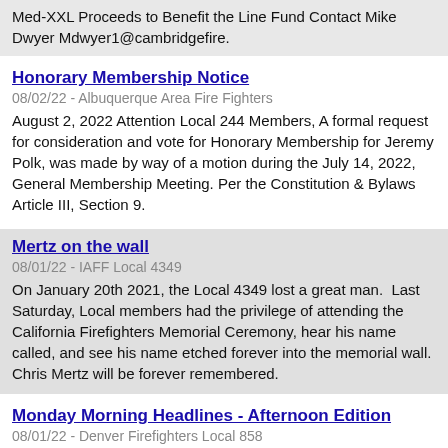Med-XXL Proceeds to Benefit the Line Fund Contact Mike Dwyer Mdwyer1@cambridgefire.
Honorary Membership Notice
08/02/22 - Albuquerque Area Fire Fighters
August 2, 2022 Attention Local 244 Members, A formal request for consideration and vote for Honorary Membership for Jeremy Polk, was made by way of a motion during the July 14, 2022, General Membership Meeting. Per the Constitution & Bylaws Article III, Section 9.
Mertz on the wall
08/01/22 - IAFF Local 4349
On January 20th 2021, the Local 4349 lost a great man.  Last Saturday, Local members had the privilege of attending the California Firefighters Memorial Ceremony, hear his name called, and see his name etched forever into the memorial wall. Chris Mertz will be forever remembered.
Monday Morning Headlines - Afternoon Edition
08/01/22 - Denver Firefighters Local 858
UNION MEETING Wednesday, August 3rd, at 7 PM and Thursday, August 4th at 8:30 AM.  The meeting will be held in the Event Center at 12 Lakeside Lane., Denver, CO 80212. An